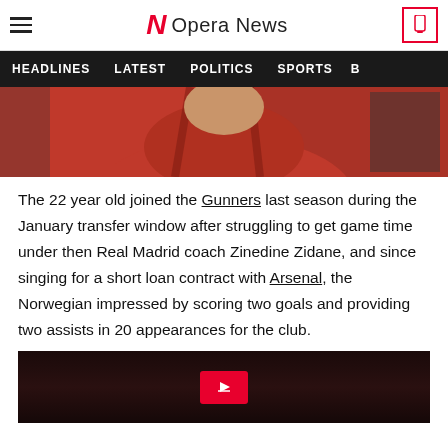Opera News
HEADLINES  LATEST  POLITICS  SPORTS
[Figure (photo): Person wearing a red shirt/jacket, partial view from chest/shoulders up, appears to be a football-related press conference setting]
The 22 year old joined the Gunners last season during the January transfer window after struggling to get game time under then Real Madrid coach Zinedine Zidane, and since singing for a short loan contract with Arsenal, the Norwegian impressed by scoring two goals and providing two assists in 20 appearances for the club.
[Figure (photo): Dark background image, likely a football stadium or related sports imagery, with a red play/expand button in the center]